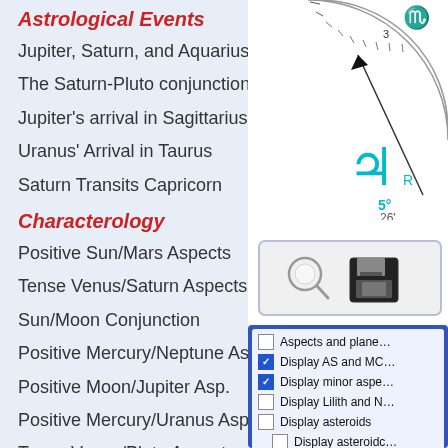Astrological Events
Jupiter, Saturn, and Aquarius
The Saturn-Pluto conjunction
Jupiter's arrival in Sagittarius
Uranus' Arrival in Taurus
Saturn Transits Capricorn
Characterology
Positive Sun/Mars Aspects
Tense Venus/Saturn Aspects
Sun/Moon Conjunction
Positive Mercury/Neptune Asp.
Positive Moon/Jupiter Asp.
Positive Mercury/Uranus Asp.
Tense Venus/Pluto Aspects
+ All Typology Articles
Compatibility
Astrology and Compatibility
Affinity & Synastry: Advice
[Figure (other): Astrological chart wheel showing zodiac degrees with Jupiter symbol in cyan, around 5 degrees 26 minutes, with a degree scale arc visible]
[Figure (screenshot): Search and save icon buttons (magnifying glass and floppy disk) in a rounded rectangle box]
[Figure (screenshot): Checkbox panel with options: Aspects and plane... (unchecked), Display AS and MC (checked), Display minor aspe... (checked), Display Lilith and N... (unchecked), Display asteroids (unchecked), Display asteroidc... (unchecked, indented), Display hypothetica... (unchecked)]